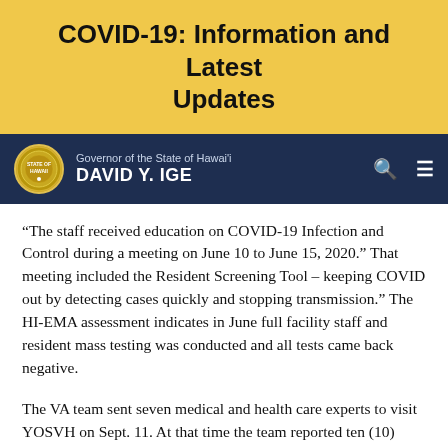COVID-19: Information and Latest Updates
Governor of the State of Hawai'i DAVID Y. IGE
“The staff received education on COVID-19 Infection and Control during a meeting on June 10 to June 15, 2020.” That meeting included the Resident Screening Tool – keeping COVID out by detecting cases quickly and stopping transmission.” The HI-EMA assessment indicates in June full facility staff and resident mass testing was conducted and all tests came back negative.
The VA team sent seven medical and health care experts to visit YOSVH on Sept. 11. At that time the team reported ten (10) residents had died from